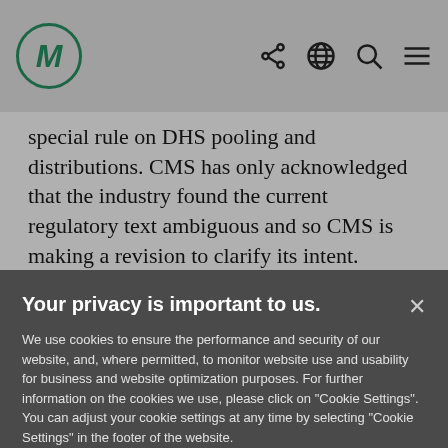M [logo] [share icon] [globe icon] [search icon] [menu icon]
special rule on DHS pooling and distributions. CMS has only acknowledged that the industry found the current regulatory text ambiguous and so CMS is making a revision to clarify its intent.
Your privacy is important to us.
We use cookies to ensure the performance and security of our website, and, where permitted, to monitor website use and usability for business and website optimization purposes. For further information on the cookies we use, please click on "Cookie Settings". You can adjust your cookie settings at any time by selecting "Cookie Settings" in the footer of the website.
Cookie Settings | Accept All Cookies